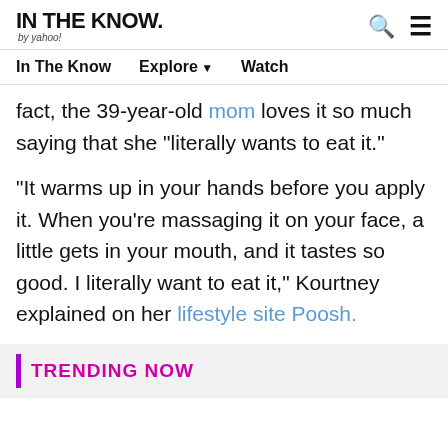IN THE KNOW. by yahoo!
In The Know   Explore ▼   Watch
fact, the 39-year-old mom loves it so much saying that she “literally wants to eat it.”
“It warms up in your hands before you apply it. When you’re massaging it on your face, a little gets in your mouth, and it tastes so good. I literally want to eat it,” Kourtney explained on her lifestyle site Poosh.
TRENDING NOW